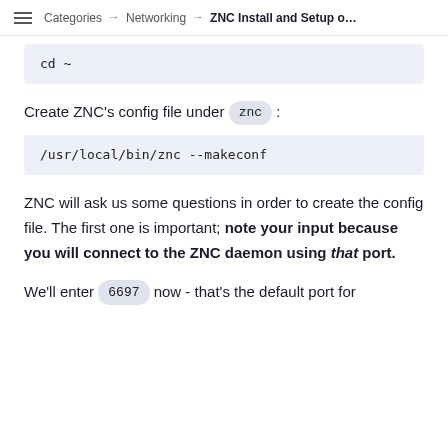Categories → Networking → ZNC Install and Setup o…
cd ~
Create ZNC's config file under znc :
/usr/local/bin/znc --makeconf
ZNC will ask us some questions in order to create the config file. The first one is important; note your input because you will connect to the ZNC daemon using that port.
We'll enter 6697 now - that's the default port for